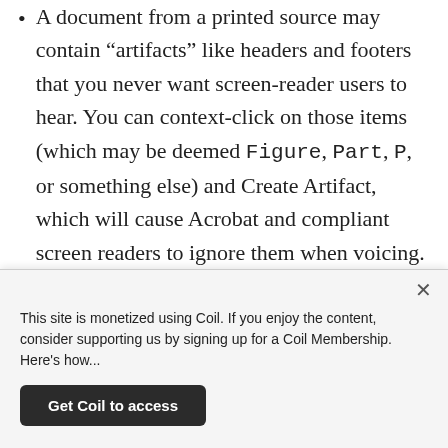A document from a printed source may contain “artifacts” like headers and footers that you never want screen-reader users to hear. You can context-click on those items (which may be deemed Figure, Part, P, or something else) and Create Artifact, which will cause Acrobat and compliant screen readers to ignore them when voicing. (You can also use the Touch-Up Reading Order tool to select the artifact on the actual page and mark it as Background.)
If this task seems tedious, it is, and it’s also quite
This site is monetized using Coil. If you enjoy the content, consider supporting us by signing up for a Coil Membership. Here's how...
Get Coil to access